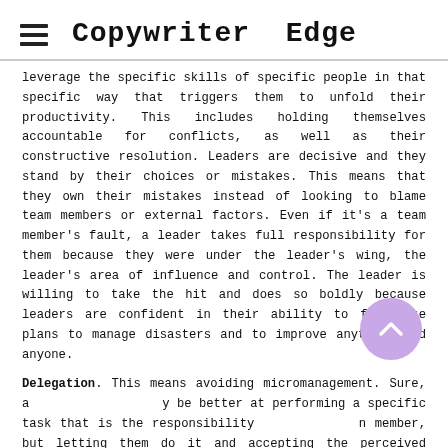Copywriter Edge
leverage the specific skills of specific people in that specific way that triggers them to unfold their productivity. This includes holding themselves accountable for conflicts, as well as their constructive resolution. Leaders are decisive and they stand by their choices or mistakes. This means that they own their mistakes instead of looking to blame team members or external factors. Even if it's a team member's fault, a leader takes full responsibility for them because they were under the leader's wing, the leader's area of influence and control. The leader is willing to take the hit and does so boldly because leaders are confident in their ability to formulate plans to manage disasters and to improve anything and anyone.
Delegation. This means avoiding micromanagement. Sure, a leader may be better at performing a specific task that is the responsibility of a team member, but letting them do it and accepting the perceived relative imperfection of the result, basically not micromanaging, keeps the ball rolling, the team working, keeps employees happy, promotes initiative, gives them a sense of ownership of their work, and encourages them to be